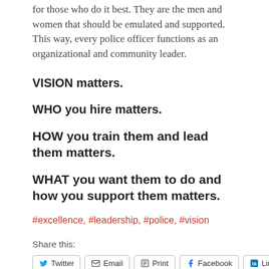for those who do it best. They are the men and women that should be emulated and supported. This way, every police officer functions as an organizational and community leader.
VISION matters.
WHO you hire matters.
HOW you train them and lead them matters.
WHAT you want them to do and how you support them matters.
#excellence, #leadership, #police, #vision
Share this:
Twitter  Email  Print  Facebook  LinkedIn